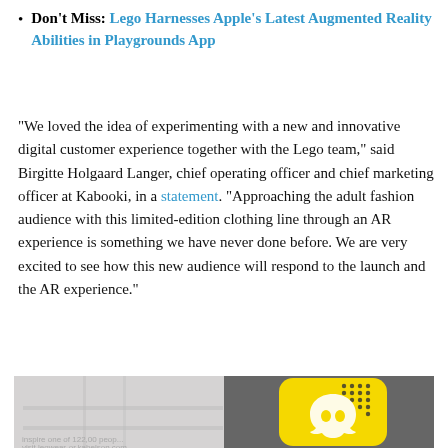Don't Miss: Lego Harnesses Apple's Latest Augmented Reality Abilities in Playgrounds App
"We loved the idea of experimenting with a new and innovative digital customer experience together with the Lego team," said Birgitte Holgaard Langer, chief operating officer and chief marketing officer at Kabooki, in a statement. "Approaching the adult fashion audience with this limited-edition clothing line through an AR experience is something we have never done before. We are very excited to see how this new audience will respond to the launch and the AR experience."
[Figure (screenshot): Snapchat social profile card for 'legowear' with 4,105 followers and a View profile button, followed by a photo showing a Snapchat ghost logo on yellow background]
legowear — 4,105 followers — View profile